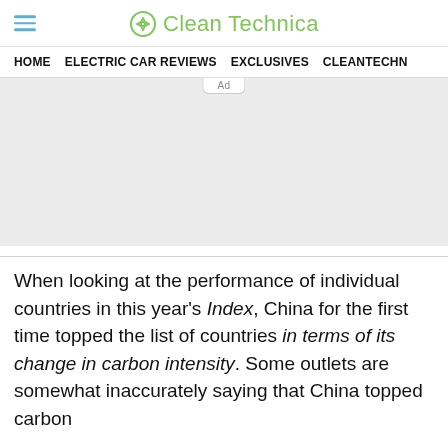CleanTechnica
HOME   ELECTRIC CAR REVIEWS   EXCLUSIVES   CLEANTECHN
[Figure (other): Advertisement placeholder block, light gray background]
When looking at the performance of individual countries in this year's Index, China for the first time topped the list of countries in terms of its change in carbon intensity. Some outlets are somewhat inaccurately saying that China topped carbon